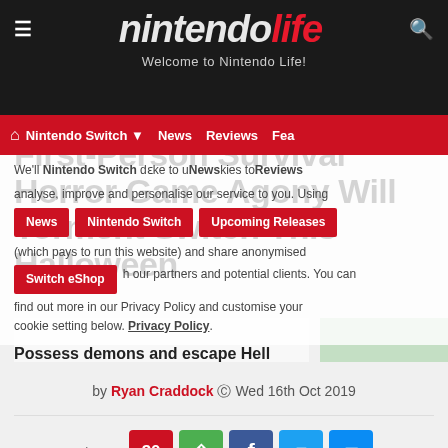nintendo life — Welcome to Nintendo Life!
Nintendo Switch | News | Reviews | Features | News | Nintendo Switch | Upcoming Releases | Switch eShop
We'll use cookies and other technologies to analyse, improve and personalise our service to you. Using cookies we are able to provide better contextual advertising (which pays to run this website) and share anonymised data with our partners and potential clients. You can find out more in our Privacy Policy and customise your cookie setting below. Privacy Policy.
First-Person Survival Horror Game Agony Will Torment Switch This Halloween
Possess demons and escape Hell
by Ryan Craddock © Wed 16th Oct 2019
Share: 30